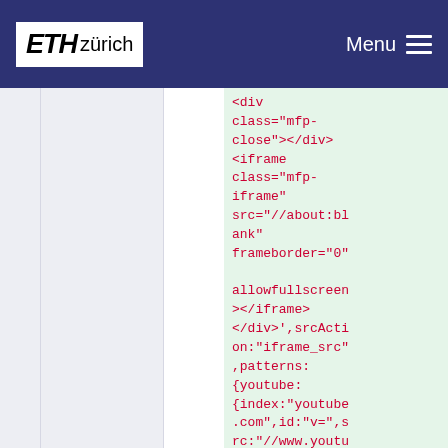ETH zürich | Menu
<div class="mfp-close"></div><iframe class="mfp-iframe" src="//about:blank" frameborder="0"

allowfullscreen></iframe></div>',srcAction:"iframe_src",patterns:{youtube:{index:"youtube.com",id:"v=",src:"//www.youtube.com/embed/%i